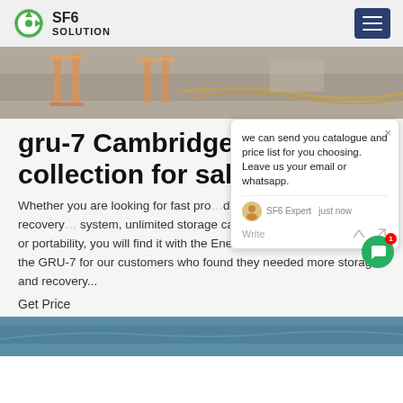SF6 SOLUTION
[Figure (photo): Outdoor construction or road works scene with orange barriers and rope, aerial/overhead view]
gru-7 Cambridge SF6 collection for sale
Whether you are looking for fast processing speed, better than 99.6% SF6 recovery, a purification system, unlimited storage capacity, easy single valve operation, or portability, you will find it with the Enervac GRU-7. We developed the GRU-7 for our customers who found they needed more storage and recovery...
Get Price
[Figure (screenshot): Chat popup widget with message: we can send you catalogue and price list for you choosing. Leave us your email or whatsapp. SF6 Expert just now. Write input area.]
[Figure (photo): Bottom partial image strip showing blue/teal colored industrial or outdoor scene]